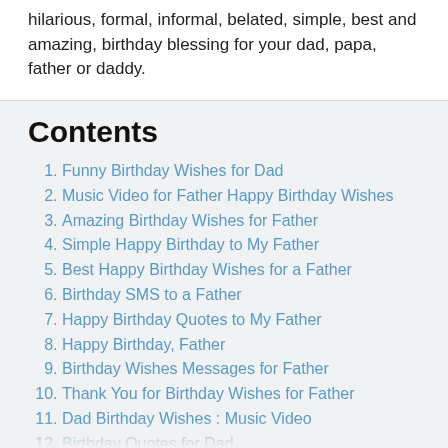hilarious, formal, informal, belated, simple, best and amazing, birthday blessing for your dad, papa, father or daddy.
Contents
Funny Birthday Wishes for Dad
Music Video for Father Happy Birthday Wishes
Amazing Birthday Wishes for Father
Simple Happy Birthday to My Father
Best Happy Birthday Wishes for a Father
Birthday SMS to a Father
Happy Birthday Quotes to My Father
Happy Birthday, Father
Birthday Wishes Messages for Father
Thank You for Birthday Wishes for Father
Dad Birthday Wishes : Music Video
Birthday Quotes for Dad
Happy Birthday Greetings for Father